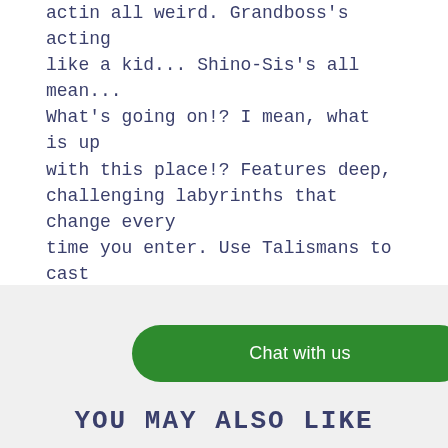actin all weird. Grandboss's acting like a kid... Shino-Sis's all mean... What's going on!? I mean, what is up with this place!? Features deep, challenging labyrinths that change every time you enter. Use Talismans to cast spells or power up your equipment. Customize and power up your weapons, which gain strength over time.
Share
[Figure (infographic): Social share icons: Facebook (f), Twitter (bird), Pinterest (P)]
Chat with us
YOU MAY ALSO LIKE